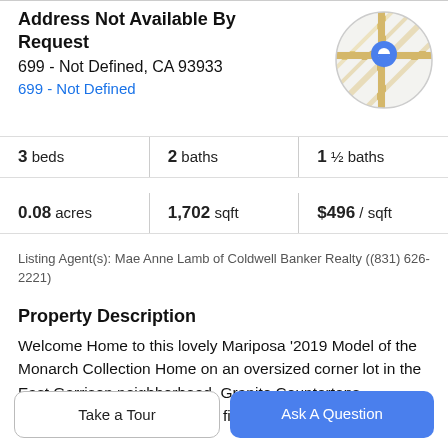Address Not Available By Request
699 - Not Defined, CA 93933
699 - Not Defined
[Figure (map): Circular map thumbnail showing street map with blue location pin marker]
3 beds   2 baths   1 ½ baths
0.08 acres   1,702 sqft   $496 / sqft
Listing Agent(s): Mae Anne Lamb of Coldwell Banker Realty ((831) 626-2221)
Property Description
Welcome Home to this lovely Mariposa '2019 Model of the Monarch Collection Home on an oversized corner lot in the East Garrison neighborhood. Granite Countertops, Laminate Flooring, Upgraded fixtures and carpeting,
Take a Tour
Ask A Question